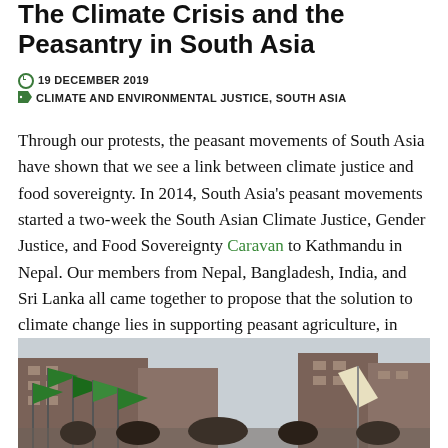The Climate Crisis and the Peasantry in South Asia
19 DECEMBER 2019   CLIMATE AND ENVIRONMENTAL JUSTICE, SOUTH ASIA
Through our protests, the peasant movements of South Asia have shown that we see a link between climate justice and food sovereignty. In 2014, South Asia's peasant movements started a two-week the South Asian Climate Justice, Gender Justice, and Food Sovereignty Caravan to Kathmandu in Nepal. Our members from Nepal, Bangladesh, India, and Sri Lanka all came together to propose that the solution to climate change lies in supporting peasant agriculture, in opposition to the many false solutions that are being peddled by agribusiness and their affiliated 'experts.'
[Figure (photo): Outdoor protest scene with green flags and a white banner/sign visible in front of brick buildings under an overcast sky.]